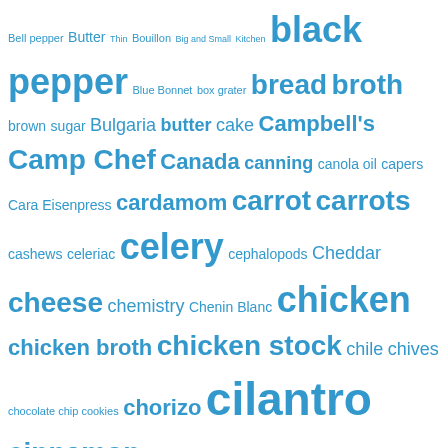Bell pepper Butter Thin Bouillon Big and Small Kitchen black pepper Blue Bonnet box grater bread broth brown sugar Bulgaria butter cake Campbell's Camp Chef Canada canning canola oil capers Cara Eisenpress cardamom carrot carrots cashews celeriac celery cephalopods Cheddar cheese chemistry Chenin Blanc chicken chicken broth chicken stock chile chives chocolate chip cookies chorizo cilantro cinnamon clove coconut milk collard greens condiment cookies Cooking Channel Corazón y Miel coriander corn Country Crock Croma Vera crème fraîche cucumber cumin Cup4Cup dairy-free dessert desserts Dijon mustard dill Dorie Greenspan Earth Balance egg bites eggplant eggs egg whites Emeril Lagasse FDA feta fideo first course fish sauce five spice Mana Audalana Food Network French Feast Patton d...